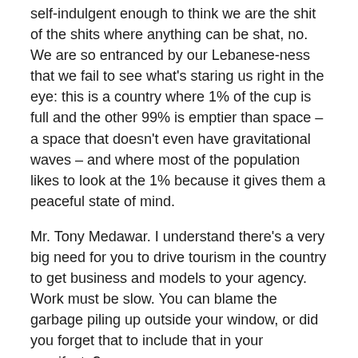self-indulgent enough to think we are the shit of the shits where anything can be shat, no. We are so entranced by our Lebanese-ness that we fail to see what's staring us right in the eye: this is a country where 1% of the cup is full and the other 99% is emptier than space – a space that doesn't even have gravitational waves – and where most of the population likes to look at the 1% because it gives them a peaceful state of mind.
Mr. Tony Medawar. I understand there's a very big need for you to drive tourism in the country to get business and models to your agency. Work must be slow. You can blame the garbage piling up outside your window, or did you forget that to include that in your manifesto?
Before I tell you what Lebanon is, let me tell you what it is not.